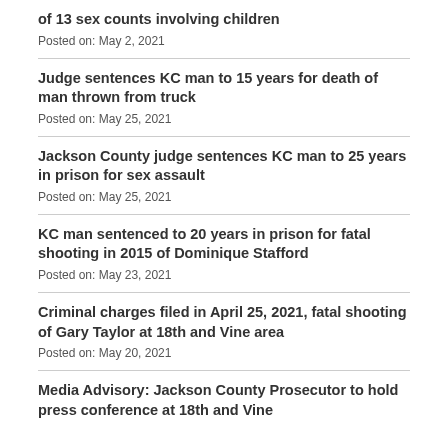of 13 sex counts involving children
Posted on: May 2, 2021
Judge sentences KC man to 15 years for death of man thrown from truck
Posted on: May 25, 2021
Jackson County judge sentences KC man to 25 years in prison for sex assault
Posted on: May 25, 2021
KC man sentenced to 20 years in prison for fatal shooting in 2015 of Dominique Stafford
Posted on: May 23, 2021
Criminal charges filed in April 25, 2021, fatal shooting of Gary Taylor at 18th and Vine area
Posted on: May 20, 2021
Media Advisory: Jackson County Prosecutor to hold press conference at 18th and Vine